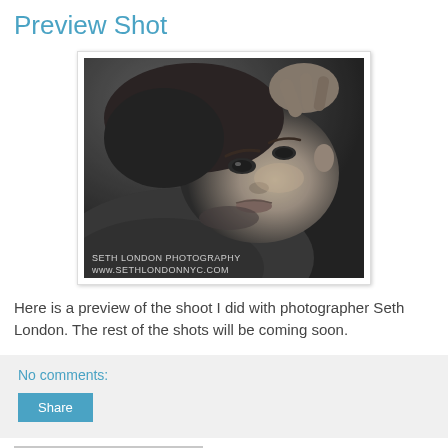Preview Shot
[Figure (photo): Black and white portrait photo of a woman lying down, looking up at camera, with hand raised to head. Watermark reads: SETH LONDON PHOTOGRAPHY www.SETHLONDONNYC.COM]
Here is a preview of the shoot I did with photographer Seth London. The rest of the shots will be coming soon.
No comments:
Share
Monday, October 3, 2011
Winter Essentials